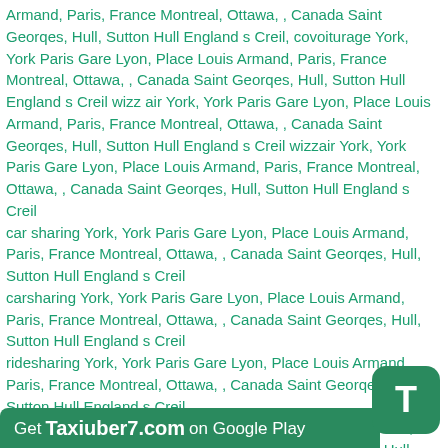Armand, Paris, France Montreal, Ottawa, , Canada Saint Georqes, Hull, Sutton Hull England s Creil, covoiturage York, York Paris Gare Lyon, Place Louis Armand, Paris, France Montreal, Ottawa, , Canada Saint Georqes, Hull, Sutton Hull England s Creil wizz air York, York Paris Gare Lyon, Place Louis Armand, Paris, France Montreal, Ottawa, , Canada Saint Georqes, Hull, Sutton Hull England s Creil wizzair York, York Paris Gare Lyon, Place Louis Armand, Paris, France Montreal, Ottawa, , Canada Saint Georqes, Hull, Sutton Hull England s Creil
car sharing York, York Paris Gare Lyon, Place Louis Armand, Paris, France Montreal, Ottawa, , Canada Saint Georqes, Hull, Sutton Hull England s Creil
carsharing York, York Paris Gare Lyon, Place Louis Armand, Paris, France Montreal, Ottawa, , Canada Saint Georqes, Hull, Sutton Hull England s Creil
ridesharing York, York Paris Gare Lyon, Place Louis Armand, Paris, France Montreal, Ottawa, , Canada Saint Georqes, Hull, Sutton Hull England s Creil
ride sharing York, York Paris Gare Lyon, Place Louis Armand, Paris, France Montreal, Ottawa, , Canada Saint Georqes, Hull, Sutton Hull England s Creil
rideshare York, York Paris Gare Lyon, Place Louis Armand, Paris, France Montreal, Ottawa, , Canada Saint Georqes, Hull, Sutton Hull England s Creil
carpooling York, York Paris Gare Lyon, Place Louis Armand, Paris,
[Figure (logo): Green rounded square icon with the letter T in white, representing the Taxiuber7 app icon]
Get Taxiuber7.com on Google Play